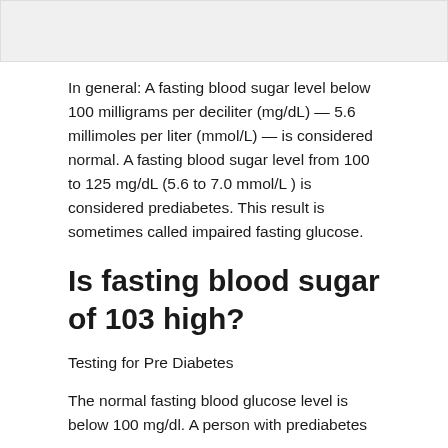[Figure (other): Partial image at top of page, clipped]
In general: A fasting blood sugar level below 100 milligrams per deciliter (mg/dL) — 5.6 millimoles per liter (mmol/L) — is considered normal. A fasting blood sugar level from 100 to 125 mg/dL (5.6 to 7.0 mmol/L ) is considered prediabetes. This result is sometimes called impaired fasting glucose.
Is fasting blood sugar of 103 high?
Testing for Pre Diabetes
The normal fasting blood glucose level is below 100 mg/dl. A person with prediabetes